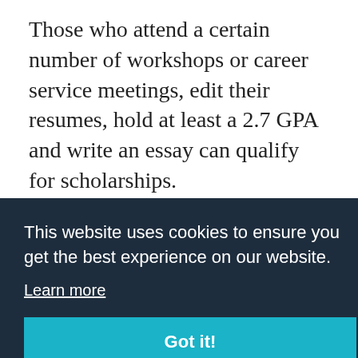Those who attend a certain number of workshops or career service meetings, edit their resumes, hold at least a 2.7 GPA and write an essay can qualify for scholarships.
In collaboration with the university's career services, B2B hosts a networking reception. Employers are invited to the university to specifically talk with B2B students. There also
This website uses cookies to ensure you get the best experience on our website.
Learn more
Got it!
resources, and best practices